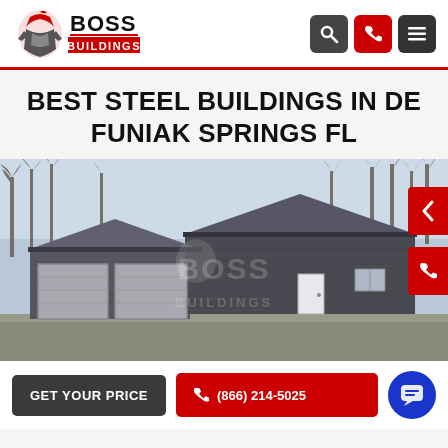[Figure (logo): Boss Buildings logo with armored warrior mascot and red/black text]
BEST STEEL BUILDINGS IN DE FUNIAK SPRINGS FL
[Figure (photo): Dark grey metal steel building with roll-up garage doors and a pedestrian door, surrounded by bare winter trees. Boss Buildings watermark overlay. Navigation arrows and phone button on the right side.]
GET YOUR PRICE
(866) 214-5025